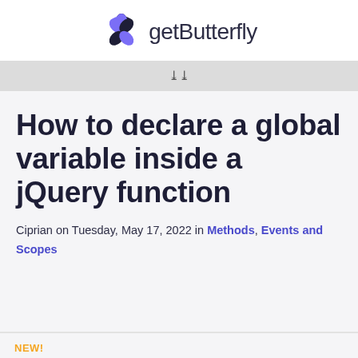getButterfly
How to declare a global variable inside a jQuery function
Ciprian on Tuesday, May 17, 2022 in Methods, Events and Scopes